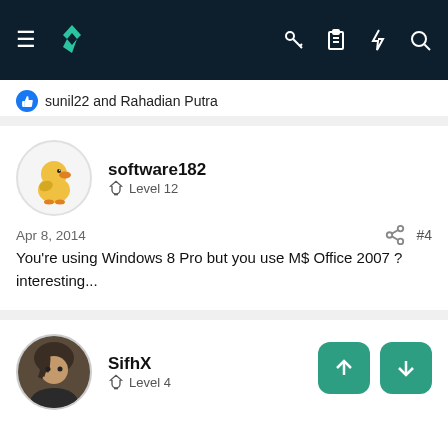[Figure (screenshot): Navigation bar with hamburger menu, logo, and icons for key, clipboard, lightning, search on dark background]
sunil22 and Rahadian Putra
software182
Level 12
Apr 8, 2014
#4
You're using Windows 8 Pro but you use M$ Office 2007 ? interesting...
SifhX
Level 4